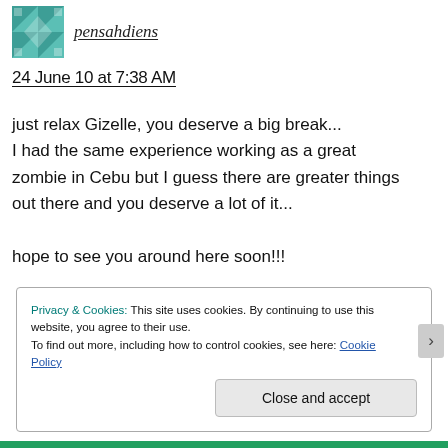[Figure (illustration): Teal/green geometric patterned avatar icon (quilt-like design)]
pensahdiens
24 June 10 at 7:38 AM
just relax Gizelle, you deserve a big break... I had the same experience working as a great zombie in Cebu but I guess there are greater things out there and you deserve a lot of it...

hope to see you around here soon!!!
Privacy & Cookies: This site uses cookies. By continuing to use this website, you agree to their use.
To find out more, including how to control cookies, see here: Cookie Policy
Close and accept